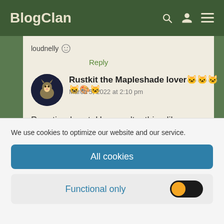BlogClan
loudnelly ☺
Reply
Rustkit the Mapleshade lover🐱🐱🐱🐱🐱🐱
March 5, 2022 at 2:10 pm
Poor tigerheart. He wasn't a thing like tigerstar
We use cookies to optimize our website and our service.
All cookies
Functional only